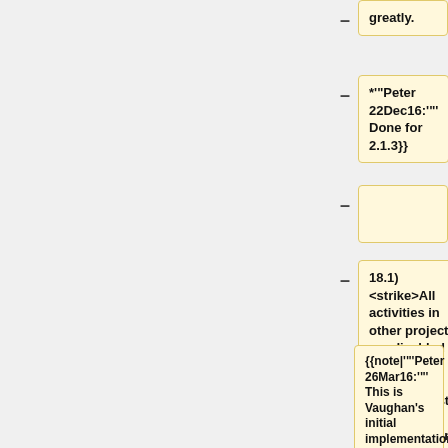greatly.
*'"Peter 22Dec16:'"' Done for 2.1.3}}
18.1) <strike>All activities in other projects are disabled when Timer Record is active or just waiting-to-activate in one project</strike>
{{note|'"'Peter 26Mar16:''" This is Vaughan's initial implementation designed to ensure safety and data integrity of the recording by avoiding